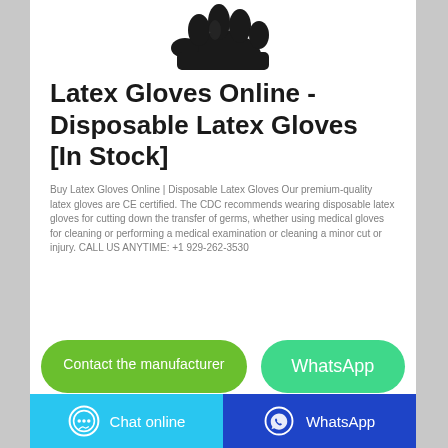[Figure (photo): Black latex glove product photo, cropped at top, showing glove shape against white background]
Latex Gloves Online - Disposable Latex Gloves [In Stock]
Buy Latex Gloves Online | Disposable Latex Gloves Our premium-quality latex gloves are CE certified. The CDC recommends wearing disposable latex gloves for cutting down the transfer of germs, whether using medical gloves for cleaning or performing a medical examination or cleaning a minor cut or injury. CALL US ANYTIME: +1 929-262-3530
Contact the manufacturer
WhatsApp
Chat online   WhatsApp